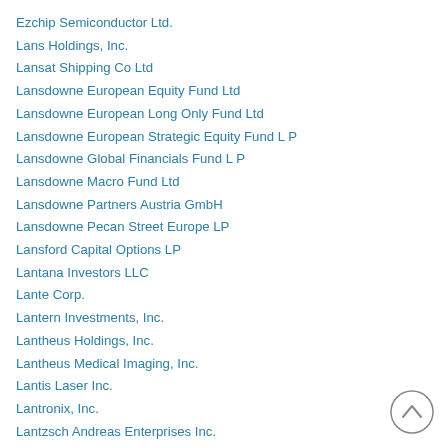Ezchip Semiconductor Ltd.
Lans Holdings, Inc.
Lansat Shipping Co Ltd
Lansdowne European Equity Fund Ltd
Lansdowne European Long Only Fund Ltd
Lansdowne European Strategic Equity Fund L P
Lansdowne Global Financials Fund L P
Lansdowne Macro Fund Ltd
Lansdowne Partners Austria GmbH
Lansdowne Pecan Street Europe LP
Lansford Capital Options LP
Lantana Investors LLC
Lante Corp.
Lantern Investments, Inc.
Lantheus Holdings, Inc.
Lantheus Medical Imaging, Inc.
Lantis Laser Inc.
Lantronix, Inc.
Lantzsch Andreas Enterprises Inc.
Streamline Health Solutions, Inc.
Lanx Fund II LP
Lanx Fund, LP
Lanx Inc.
Lanxess
Lapenta Robert V